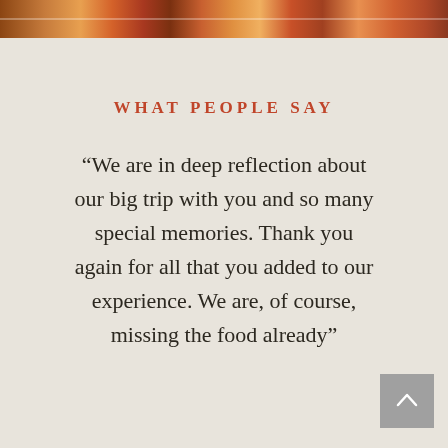[Figure (photo): Decorative image bar at top showing food/travel photographs in warm orange and red tones]
WHAT PEOPLE SAY
“We are in deep reflection about our big trip with you and so many special memories. Thank you again for all that you added to our experience. We are, of course, missing the food already”